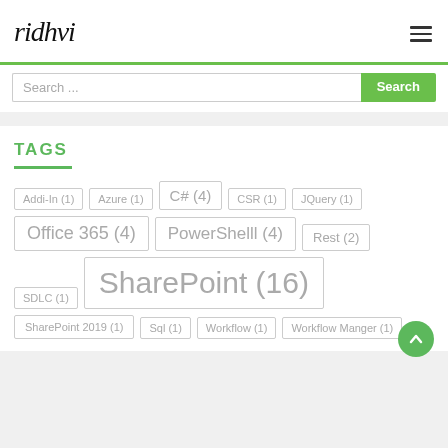ridhvi — navigation header with hamburger menu
Search ...
TAGS
Addi-In (1)
Azure (1)
C# (4)
CSR (1)
JQuery (1)
Office 365 (4)
PowerShelll (4)
Rest (2)
SDLC (1)
SharePoint (16)
SharePoint 2019 (1)
Sql (1)
Workflow (1)
Workflow Manger (1)